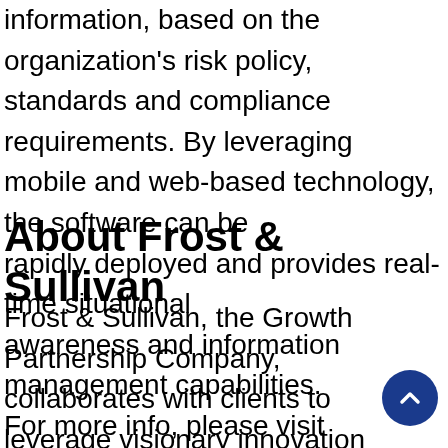information, based on the organization's risk policy, standards and compliance requirements. By leveraging mobile and web-based technology, the software can be rapidly deployed and provides real-time situational awareness and information management capabilities. For more info, please visit www.vidsys.com.
About Frost & Sullivan
Frost & Sullivan, the Growth Partnership Company, collaborates with clients to leverage visionary innovation that addresses the global challenges and related growth opportunities that will make or break today's market participants. For more than 50 years, Frost & Sullivan...